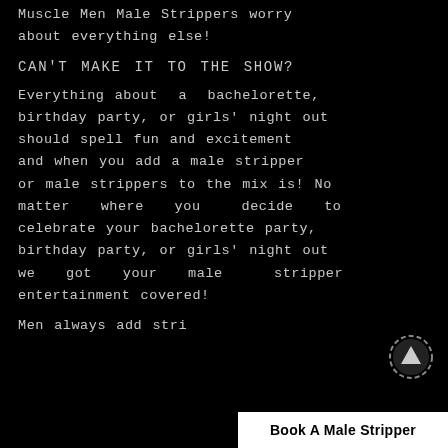Muscle Men Male Strippers worry about everything else!
CAN'T MAKE IT TO THE SHOW?
Everything about a bachelorette, birthday party, or girls' night out should spell fun and excitement and when you add a male stripper or male strippers to the mix is! No matter where you decide to celebrate your bachelorette party, birthday party, or girls' night out we got your male stripper entertainment covered!
Men always add stri...